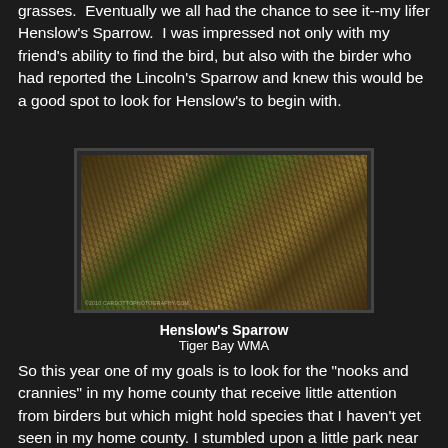grasses.  Eventually we all had the chance to see it--my lifer Henslow's Sparrow.  I was impressed not only with my friend's ability to find the bird, but also with the birder who had reported the Lincoln's Sparrow and knew this would be a good spot to look for Henslow's to begin with.
[Figure (photo): Close-up photograph of a Henslow's Sparrow partially hidden among dense grass stems and stalks at Tiger Bay WMA. The bird is barely visible through the tangled vegetation.]
Henslow's Sparrow
Tiger Bay WMA
So this year one of my goals is to look for the "nooks and crannies" in my home county that receive little attention from birders but which might hold species that I haven't yet seen in my home county. I stumbled upon a little park near the northern boundary of Seminole Co. called Mullet Lake Park.